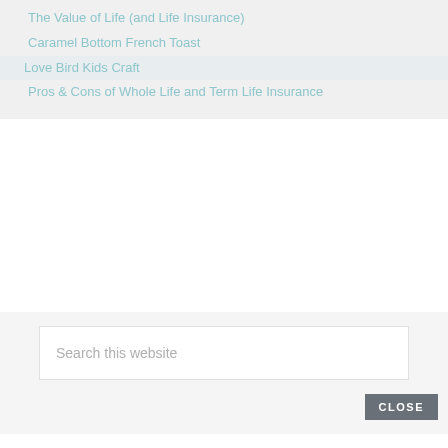The Value of Life (and Life Insurance)
Caramel Bottom French Toast
Love Bird Kids Craft
Pros & Cons of Whole Life and Term Life Insurance
Search this website
CLOSE
JOIN MY FREE PRINTABLES MEMBERSHIP